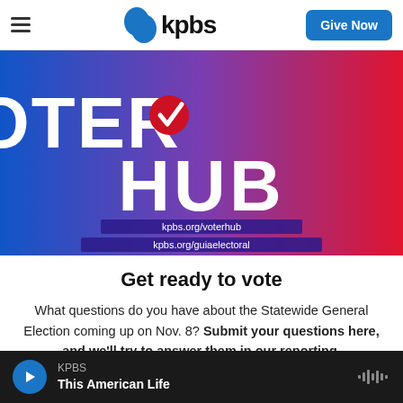KPBS — Give Now
[Figure (illustration): KPBS Voter Hub promotional banner with blue-to-red gradient background. Large white bold text reads 'VOTER HUB' with a checkmark icon in place of the 'O'. Below are two purple URL banners: 'kpbs.org/voterhub' and 'kpbs.org/guiaelectoral'.]
Get ready to vote
What questions do you have about the Statewide General Election coming up on Nov. 8? Submit your questions here, and we'll try to answer them in our reporting.
KPBS — This American Life (audio player)